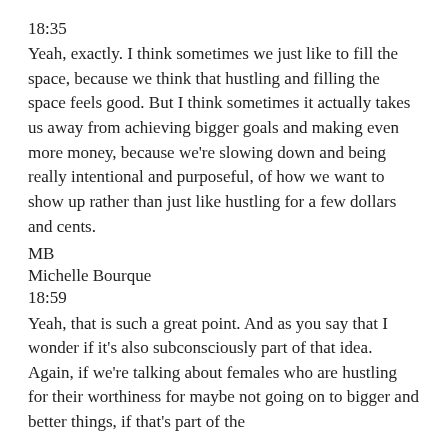18:35
Yeah, exactly. I think sometimes we just like to fill the space, because we think that hustling and filling the space feels good. But I think sometimes it actually takes us away from achieving bigger goals and making even more money, because we're slowing down and being really intentional and purposeful, of how we want to show up rather than just like hustling for a few dollars and cents.
MB
Michelle Bourque
18:59
Yeah, that is such a great point. And as you say that I wonder if it's also subconsciously part of that idea. Again, if we're talking about females who are hustling for their worthiness for maybe not going on to bigger and better things, if that's part of the